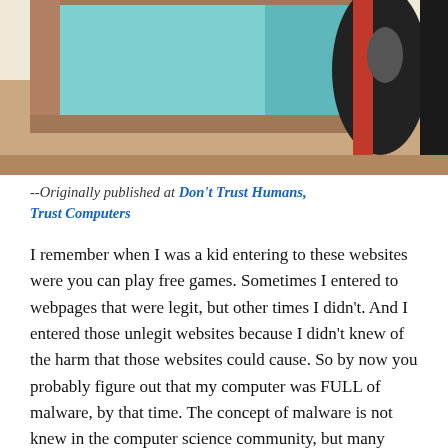[Figure (illustration): Illustration of a computer desk with a monitor, showing teal/blue screen, a red and black computer mouse, and a brown desk surface against a light background.]
--Originally published at Don&#039;t Trust Humans, Trust Computers
I remember when I was a kid entering to these websites were you can play free games. Sometimes I entered to webpages that were legit, but other times I didn't. And I entered those unlegit websites because I didn't knew of the harm that those websites could cause. So by now you probably figure out that my computer was FULL of malware, by that time. The concept of malware is not knew in the computer science community, but many people do not know what is malware and the various types of malware it exists in the world. In this post I will